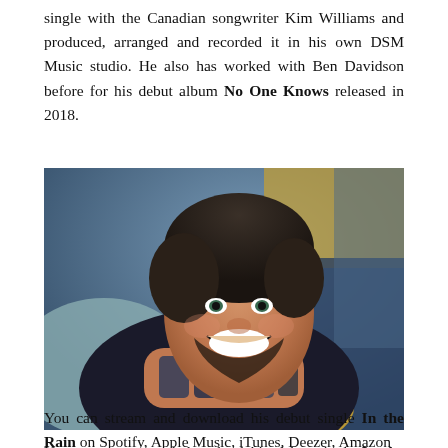single with the Canadian songwriter Kim Williams and produced, arranged and recorded it in his own DSM Music studio. He also has worked with Ben Davidson before for his debut album No One Knows released in 2018.
[Figure (photo): A smiling man with dark hair, a beard, and tattoos on his forearms, resting his head on his hands on a yellow pillow, with blurred colorful background.]
You can stream and download his debut single In the Rain on Spotify, Apple Music, iTunes, Deezer, Amazon